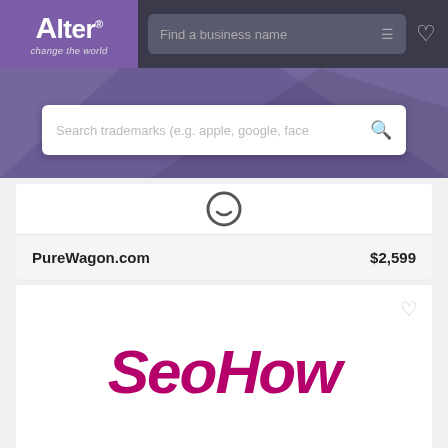[Figure (screenshot): Alter brand logo with purple background, tagline 'change the world']
Find a business name
[Figure (screenshot): Search trademarks input box with placeholder text 'Search trademarks (e.g. apple, google, face']
PureWagon.com
$2,599
[Figure (logo): SeoHow brand name in large bold italic crimson/magenta text]
SeoHow.com
$3,999